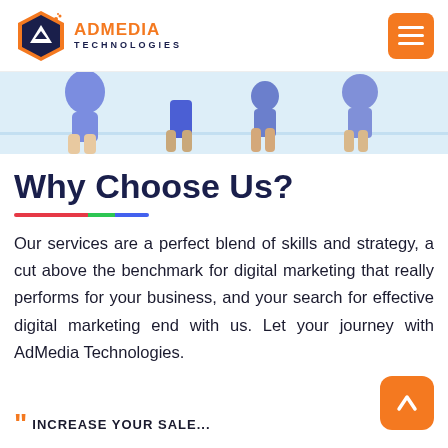AdMedia Technologies
[Figure (illustration): Illustrated figures of people in purple/blue tones, shown from waist down, decorative banner strip]
Why Choose Us?
Our services are a perfect blend of skills and strategy, a cut above the benchmark for digital marketing that really performs for your business, and your search for effective digital marketing end with us. Let your journey with AdMedia Technologies.
[Figure (other): Orange back-to-top arrow button]